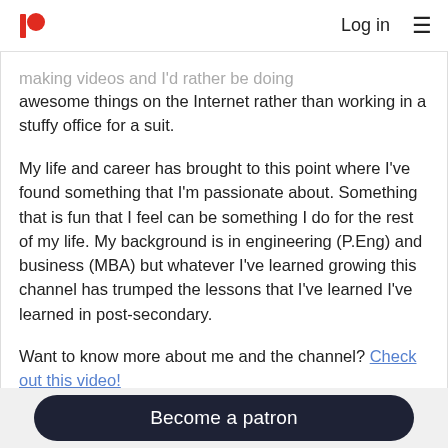Log in  ≡
making videos and I'd rather be doing awesome things on the Internet rather than working in a stuffy office for a suit.
My life and career has brought to this point where I've found something that I'm passionate about. Something that is fun that I feel can be something I do for the rest of my life. My background is in engineering (P.Eng) and business (MBA) but whatever I've learned growing this channel has trumped the lessons that I've learned I've learned in post-secondary.
Want to know more about me and the channel? Check out this video!
Become a patron